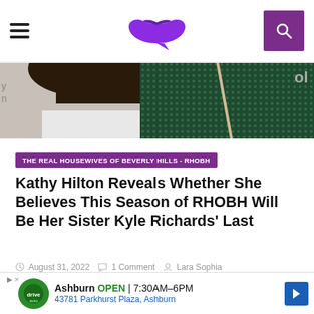Navigation header with hamburger menu, lips logo, and search button
[Figure (photo): Partial photo of two women at an event, one in white outfit and one in dark green sequined outfit]
THE REAL HOUSEWIVES OF BEVERLY HILLS - RHOBH
Kathy Hilton Reveals Whether She Believes This Season of RHOBH Will Be Her Sister Kyle Richards' Last
August 31, 2022   1 Comment   Lara Sophia
About the author
VIEW ALL POSTS
Lara Sophia
Lara began writing for AllAboutTRU in
Ashburn OPEN 7:30AM–6PM 43781 Parkhurst Plaza, Ashburn